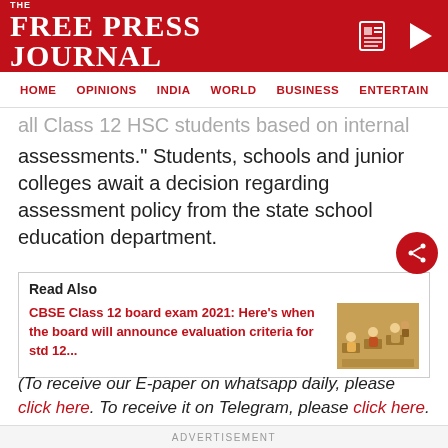THE FREE PRESS JOURNAL
HOME | OPINIONS | INDIA | WORLD | BUSINESS | ENTERTAIN
all Class 12 HSC students based on internal assessments." Students, schools and junior colleges await a decision regarding assessment policy from the state school education department.
Read Also
CBSE Class 12 board exam 2021: Here's when the board will announce evaluation criteria for std 12...
[Figure (photo): Students writing exam in classroom]
(To receive our E-paper on whatsapp daily, please click here. To receive it on Telegram, please click here. We permit sharing of the paper's PDF on
ADVERTISEMENT